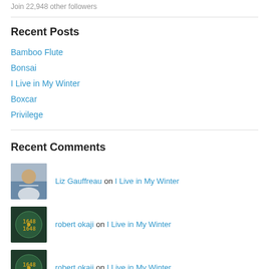Join 22,948 other followers
Recent Posts
Bamboo Flute
Bonsai
I Live in My Winter
Boxcar
Privilege
Recent Comments
Liz Gauffreau on I Live in My Winter
robert okaji on I Live in My Winter
robert okaji on I Live in My Winter